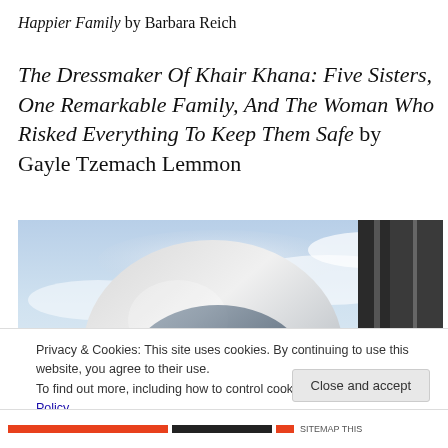Happier Family by Barbara Reich
The Dressmaker Of Khair Khana: Five Sisters, One Remarkable Family, And The Woman Who Risked Everything To Keep Them Safe by Gayle Tzemach Lemmon
[Figure (photo): Cropped photo of an astronaut in a white spacesuit helmet against a blue cloudy sky, with a dark rectangular structure visible at the right side.]
Privacy & Cookies: This site uses cookies. By continuing to use this website, you agree to their use.
To find out more, including how to control cookies, see here: Cookie Policy
Close and accept